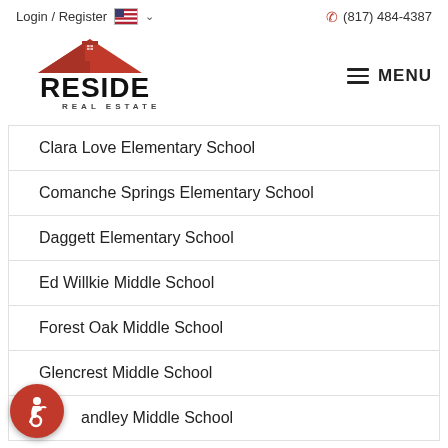Login / Register  (817) 484-4387
[Figure (logo): Reside Real Estate logo with red roof and house icon above bold text RESIDE REAL ESTATE]
Clara Love Elementary School
Comanche Springs Elementary School
Daggett Elementary School
Ed Willkie Middle School
Forest Oak Middle School
Glencrest Middle School
Handley Middle School